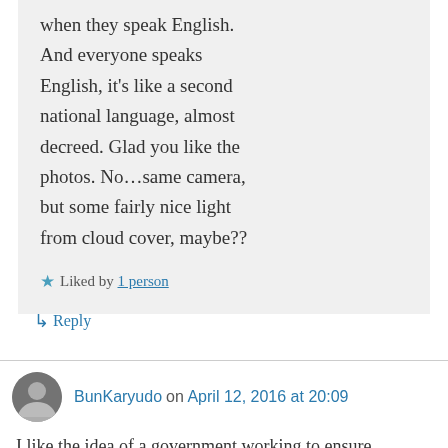when they speak English. And everyone speaks English, it's like a second national language, almost decreed. Glad you like the photos. No…same camera, but some fairly nice light from cloud cover, maybe??
★ Liked by 1 person
↳ Reply
BunKaryudo on April 12, 2016 at 20:09
I like the idea of a government working to ensure Gross National Happiness. In our interconnected